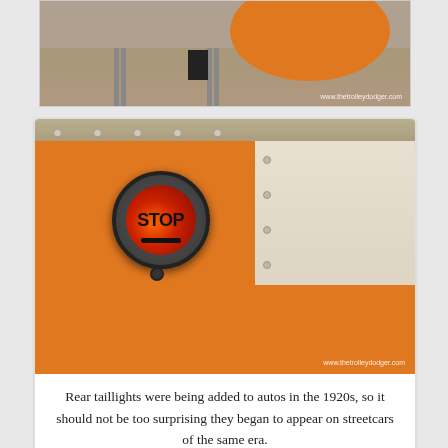[Figure (photo): Top portion of a photo showing orange/red circular object on railroad tracks with gravel, with watermark www.thetrolleydodger.com]
[Figure (photo): Orange and cream streetcar exterior with a circular black-framed STOP taillight sign with illuminated red background, mounted on the side of the streetcar. Watermark: www.thetrolleydodger.com]
Rear taillights were being added to autos in the 1920s, so it should not be too surprising they began to appear on streetcars of the same era.